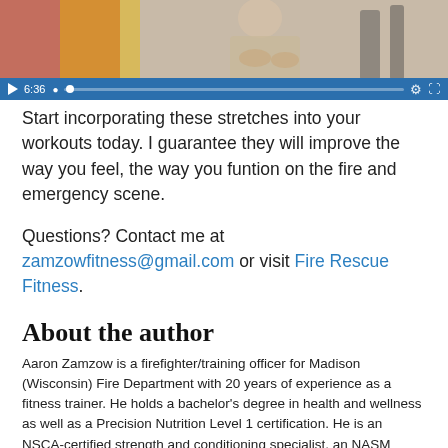[Figure (screenshot): Video player screenshot showing a firefighter/trainer, with blue progress bar controls showing timestamp 6:36, play button, settings gear icon, and fullscreen icon.]
Start incorporating these stretches into your workouts today. I guarantee they will improve the way you feel, the way you funtion on the fire and emergency scene.
Questions? Contact me at zamzowfitness@gmail.com or visit Fire Rescue Fitness.
About the author
Aaron Zamzow is a firefighter/training officer for Madison (Wisconsin) Fire Department with 20 years of experience as a fitness trainer. He holds a bachelor's degree in health and wellness as well as a Precision Nutrition Level 1 certification. He is an NSCA-certified strength and conditioning specialist, an NASM certified personal trainer and an ACE-certified peer fitness trainer. Zamzow is the founder and owner of FireRescueFitness.com and develops programs aimed at getting fire rescue athletes fit for duty. He authored the book "Ladder 2 Workout: A Comprehensive Firefighter Workout Program that will get you 'Fit for Duty' in 28 days." Connect with Zamzow or